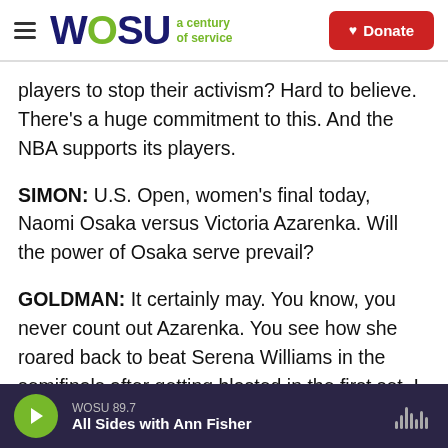WOSU a century of service | Donate
players to stop their activism? Hard to believe. There's a huge commitment to this. And the NBA supports its players.
SIMON: U.S. Open, women's final today, Naomi Osaka versus Victoria Azarenka. Will the power of Osaka serve prevail?
GOLDMAN: It certainly may. You know, you never count out Azarenka. You see how she roared back to beat Serena Williams in the semifinals after getting blasted in the first set. I think it's going to be a great match even without the star power of
WOSU 89.7 | All Sides with Ann Fisher